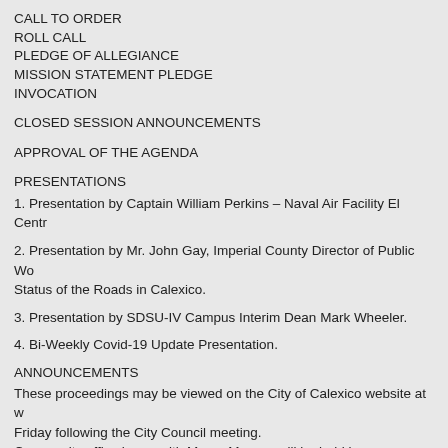CALL TO ORDER
ROLL CALL
PLEDGE OF ALLEGIANCE
MISSION STATEMENT PLEDGE
INVOCATION
CLOSED SESSION ANNOUNCEMENTS
APPROVAL OF THE AGENDA
PRESENTATIONS
1. Presentation by Captain William Perkins – Naval Air Facility El Centro
2. Presentation by Mr. John Gay, Imperial County Director of Public Works – Status of the Roads in Calexico.
3. Presentation by SDSU-IV Campus Interim Dean Mark Wheeler.
4. Bi-Weekly Covid-19 Update Presentation.
ANNOUNCEMENTS
These proceedings may be viewed on the City of Calexico website at w Friday following the City Council meeting.
Community office hours with Mayor Moreno will be held by appointment Clerk's Office at (760) 768-2102 to schedule an appointment.
PUBLIC COMMENTS AND PUBLIC APPEARANCES
NOTE: (Not to Exceed 3 Minutes) This is the time for the public to addr